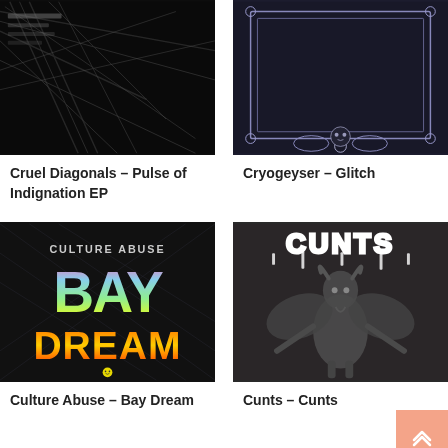[Figure (photo): Album cover for Cruel Diagonals – Pulse of Indignation EP: dark black and white abstract image]
[Figure (photo): Album cover for Cryogeyser – Glitch: dark navy image with ornate frame and floral/skull motifs]
Cruel Diagonals – Pulse of Indignation EP
Cryogeyser – Glitch
[Figure (photo): Album cover for Culture Abuse – Bay Dream: colorful tie-dye letters spelling BAY DREAM with chain-link fence texture, smiley face]
[Figure (photo): Album cover for Cunts – Cunts: black and white illustration of winged demonic goat figure with CUNTS text in dripping letters]
Culture Abuse – Bay Dream
Cunts – Cunts